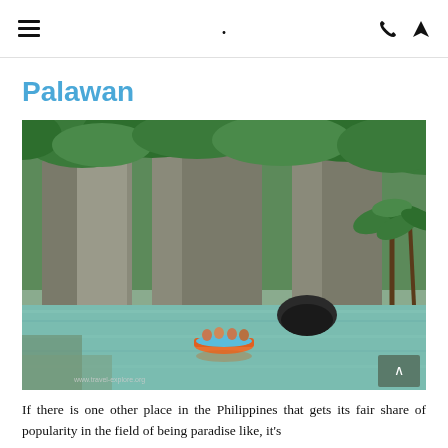≡  .  ☎ ➤
Palawan
[Figure (photo): A scenic photograph of Palawan, Philippines, showing a turquoise-green lagoon with a small orange boat carrying tourists, surrounded by towering limestone karst cliffs covered in dense tropical jungle and palm trees.]
If there is one other place in the Philippines that gets its fair share of popularity in the field of being paradise like, it's